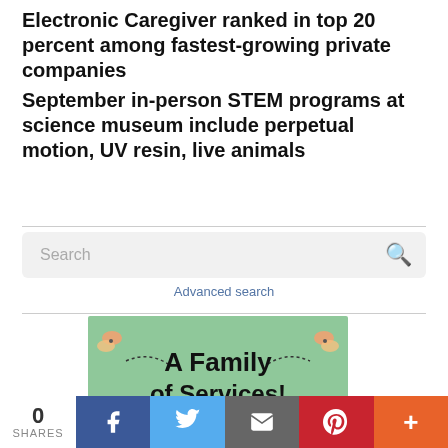Electronic Caregiver ranked in top 20 percent among fastest-growing private companies
September in-person STEM programs at science museum include perpetual motion, UV resin, live animals
[Figure (screenshot): Search box with placeholder text 'Search' and magnifying glass icon, with 'Advanced search' link below]
[Figure (illustration): Green banner with butterflies and text 'A Family of Services!']
[Figure (infographic): Social share bar: 0 SHARES, Facebook, Twitter, Email, Pinterest, More buttons]